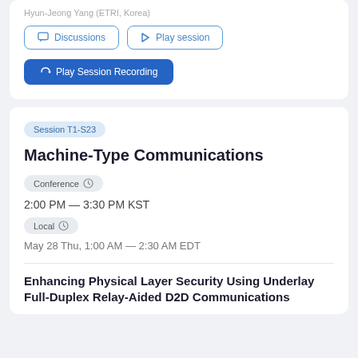Hyun-Jeong Yang (ETRI, Korea)
Discussions
Play session
▶ Play Session Recording
Session T1-S23
Machine-Type Communications
Conference
2:00 PM — 3:30 PM KST
Local
May 28 Thu, 1:00 AM — 2:30 AM EDT
Enhancing Physical Layer Security Using Underlay Full-Duplex Relay-Aided D2D Communications